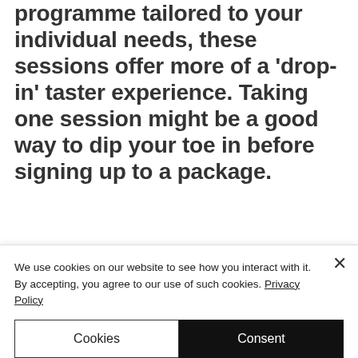through a responsive programme tailored to your individual needs, these sessions offer more of a 'drop-in' taster experience. Taking one session might be a good way to dip your toe in before signing up to a package.
Introductory Somatic Movement Class
We use cookies on our website to see how you interact with it. By accepting, you agree to our use of such cookies. Privacy Policy